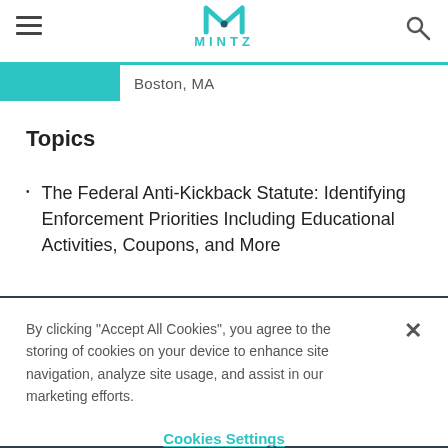MINTZ
Boston, MA
Topics
The Federal Anti-Kickback Statute: Identifying Enforcement Priorities Including Educational Activities, Coupons, and More
By clicking "Accept All Cookies", you agree to the storing of cookies on your device to enhance site navigation, analyze site usage, and assist in our marketing efforts.
Cookies Settings
Reject All